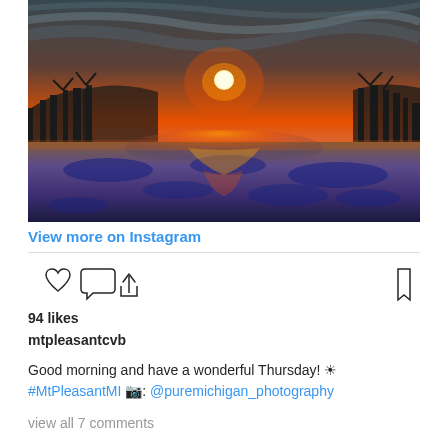[Figure (photo): Sunset over a frozen lake or icy field with bare trees silhouetted against a golden sky with dramatic clouds. Sun reflects off the icy surface creating golden and blue tones.]
View more on Instagram
94 likes
mtpleasantcvb
Good morning and have a wonderful Thursday! ☀ #MtPleasantMI 📷: @puremichigan_photography
view all 7 comments